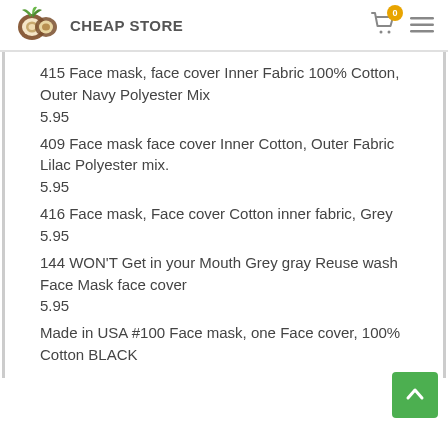CHEAP STORE
415 Face mask, face cover Inner Fabric 100% Cotton, Outer Navy Polyester Mix
5.95
409 Face mask face cover Inner Cotton, Outer Fabric Lilac Polyester mix.
5.95
416 Face mask, Face cover Cotton inner fabric, Grey
5.95
144 WON'T Get in your Mouth Grey gray Reuse wash Face Mask face cover
5.95
Made in USA #100 Face mask, one Face cover, 100% Cotton BLACK